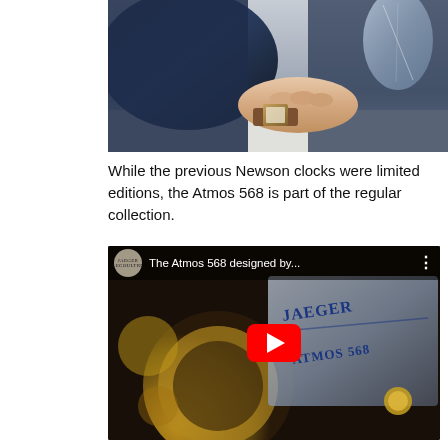[Figure (photo): Photo of a person's hand wearing a watch, holding or near a glass object on a table, wearing a dark navy suit jacket.]
While the previous Newson clocks were limited editions, the Atmos 568 is part of the regular collection.
[Figure (screenshot): YouTube video thumbnail showing 'The Atmos 568 designed by...' with Jaeger-LeCoultre logo, a red play button, and background showing golden gears and a clock face with JAEGER and ATMOS 568 text.]